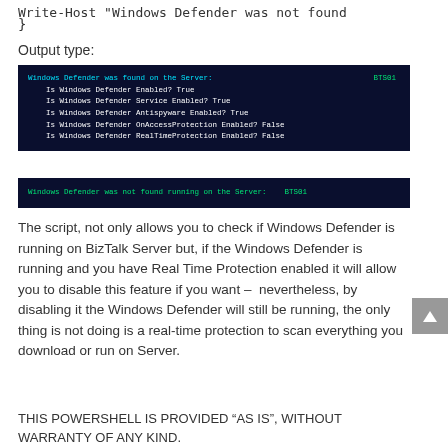}
Output type:
[Figure (screenshot): Terminal output showing Windows Defender found on server BTS01 with status lines for Enabled, Service Enabled, Antispyware Enabled (all True), OnAccessProtection Enabled (False), RealTimeProtection Enabled (False)]
[Figure (screenshot): Terminal output showing: Windows Defender was not found running on the Server: BTS01]
The script, not only allows you to check if Windows Defender is running on BizTalk Server but, if the Windows Defender is running and you have Real Time Protection enabled it will allow you to disable this feature if you want – nevertheless, by disabling it the Windows Defender will still be running, the only thing is not doing is a real-time protection to scan everything you download or run on Server.
THIS POWERSHELL IS PROVIDED “AS IS”, WITHOUT WARRANTY OF ANY KIND.